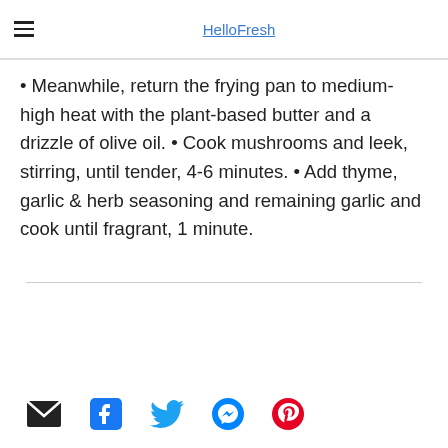HelloFresh
• Meanwhile, return the frying pan to medium-high heat with the plant-based butter and a drizzle of olive oil. • Cook mushrooms and leek, stirring, until tender, 4-6 minutes. • Add thyme, garlic & herb seasoning and remaining garlic and cook until fragrant, 1 minute.
Email, Facebook, Twitter, Messenger, Pinterest social share icons